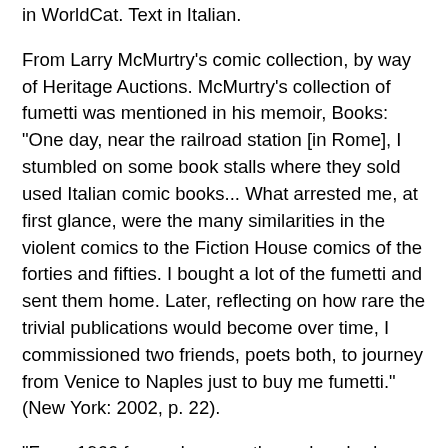in WorldCat. Text in Italian.
From Larry McMurtry's comic collection, by way of Heritage Auctions. McMurtry's collection of fumetti was mentioned in his memoir, Books: "One day, near the railroad station [in Rome], I stumbled on some book stalls where they sold used Italian comic books... What arrested me, at first glance, were the many similarities in the violent comics to the Fiction House comics of the forties and fifties. I bought a lot of the fumetti and sent them home. Later, reflecting on how rare the trivial publications would become over time, I commissioned two friends, poets both, to journey from Venice to Naples just to buy me fumetti." (New York: 2002, p. 22).
"From 1966 forward... more than a hundred publications appeared with content ranging from the suggestively erotic to the blatantly pornographic. Among the most popular, and least amateurish, were Jacula, Isabella, Vartan, Lucifera... and Hessa. For the most part, the fumetti vietati [ai minori (adults only comics)] dabbled in gothic and horror genres, serving in equal parts gore and sexual situations, making them the comic book counterpart of the gothic and erotic movie phenomenon that